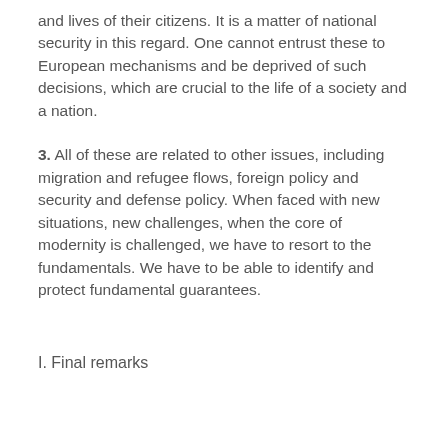and lives of their citizens. It is a matter of national security in this regard. One cannot entrust these to European mechanisms and be deprived of such decisions, which are crucial to the life of a society and a nation.
3. All of these are related to other issues, including migration and refugee flows, foreign policy and security and defense policy. When faced with new situations, new challenges, when the core of modernity is challenged, we have to resort to the fundamentals. We have to be able to identify and protect fundamental guarantees.
I. Final remarks